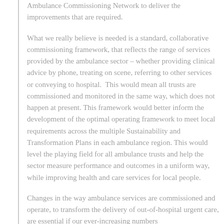Ambulance Commissioning Network to deliver the improvements that are required.
What we really believe is needed is a standard, collaborative commissioning framework, that reflects the range of services provided by the ambulance sector – whether providing clinical advice by phone, treating on scene, referring to other services or conveying to hospital.  This would mean all trusts are commissioned and monitored in the same way, which does not happen at present. This framework would better inform the development of the optimal operating framework to meet local requirements across the multiple Sustainability and Transformation Plans in each ambulance region. This would level the playing field for all ambulance trusts and help the sector measure performance and outcomes in a uniform way, while improving health and care services for local people.
Changes in the way ambulance services are commissioned and operate, to transform the delivery of out-of-hospital urgent care, are essential if our ever-increasing numbers